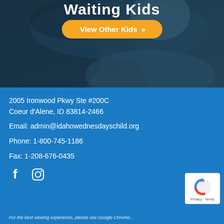[Figure (photo): Background photo of a child in a blue blanket/jacket, partially visible, dark overlay. Title text 'Waiting Kids' visible at top.]
View Other Kids »
2005 Ironwood Pkwy Ste #200C
Coeur d'Alene, ID 83814-2466
Email: admin@idahowednesdayschild.org
Phone: 1-800-745-1186
Fax: 1-208-676-0435
[Figure (illustration): Facebook and Instagram social media icons in white]
[Figure (logo): reCAPTCHA badge with Google reCAPTCHA logo, Privacy and Terms text]
For the best viewing experience, please use Google Chrome...